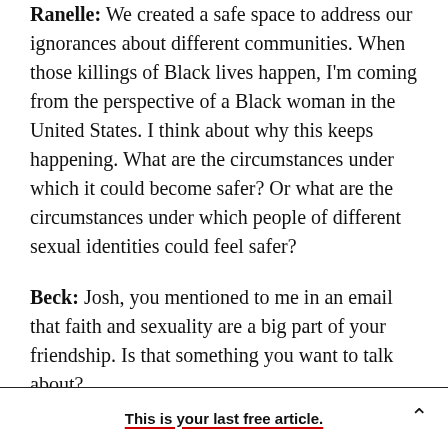Ranelle: We created a safe space to address our ignorances about different communities. When those killings of Black lives happen, I'm coming from the perspective of a Black woman in the United States. I think about why this keeps happening. What are the circumstances under which it could become safer? Or what are the circumstances under which people of different sexual identities could feel safer?
Beck: Josh, you mentioned to me in an email that faith and sexuality are a big part of your friendship. Is that something you want to talk about?
This is your last free article.